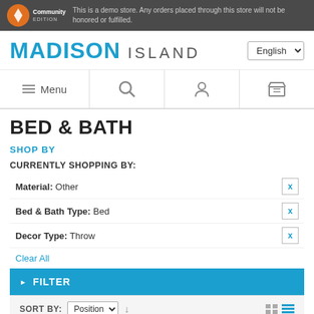This is a demo store. Any orders placed through this store will not be honored or fulfilled.
MADISON ISLAND
[Figure (screenshot): Navigation bar with Menu, Search, Account, and Cart icons]
BED & BATH
SHOP BY
CURRENTLY SHOPPING BY:
Material: Other
Bed & Bath Type: Bed
Decor Type: Throw
Clear All
FILTER
SORT BY: Position